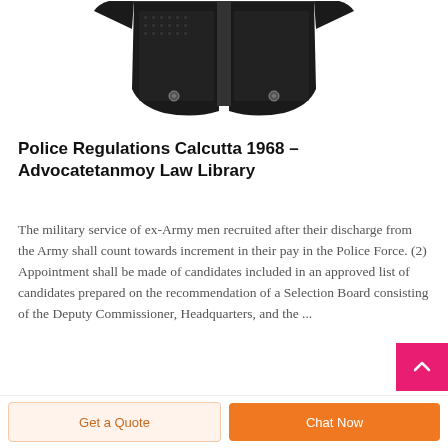[Figure (photo): A black tactical/police vest photographed from the front, showing mesh fabric, snap buttons, and open front.]
Police Regulations Calcutta 1968 – Advocatetanmoy Law Library
The military service of ex-Army men recruited after their discharge from the Army shall count towards increment in their pay in the Police Force. (2) Appointment shall be made of candidates included in an approved list of candidates prepared on the recommendation of a Selection Board consisting of the Deputy Commissioner, Headquarters, and the ...